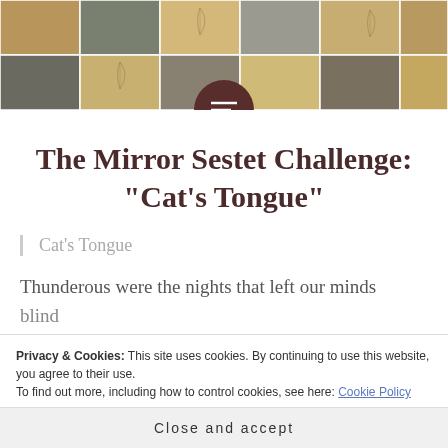[Figure (photo): Header image showing a mosaic or tiled pattern with earthy tones — browns, tans, and grays — featuring feather motifs on some tiles. A dark brown circular menu button overlaps the bottom center of the image.]
The Mirror Sestet Challenge: “Cat’s Tongue”
Cat’s Tongue
Thunderous were the nights that left our minds blind
Privacy & Cookies: This site uses cookies. By continuing to use this website, you agree to their use.
To find out more, including how to control cookies, see here: Cookie Policy
Close and accept